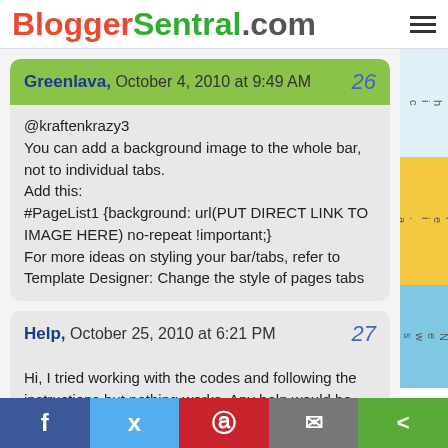BloggerSentral.com
Greenlava,  October 4, 2010 at 9:49 AM   26
@kraftenkrazy3
You can add a background image to the whole bar, not to individual tabs.
Add this:
#PageList1 {background: url(PUT DIRECT LINK TO IMAGE HERE) no-repeat !important;}
For more ideas on styling your bar/tabs, refer to Template Designer: Change the style of pages tabs
Help,  October 25, 2010 at 6:21 PM   27
Hi, I tried working with the codes and following the instructions but nothing works. Any help would be much appreciated.